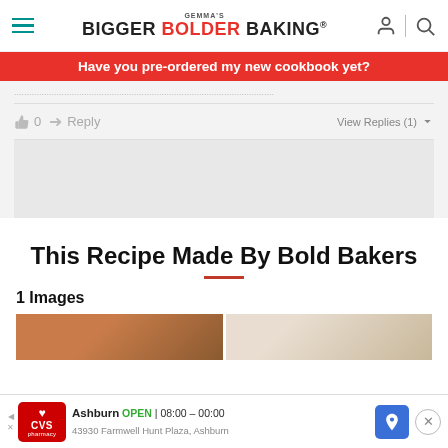Gemma's Bigger Bolder Baking
Have you pre-ordered my new cookbook yet?
0   Reply   View Replies (1)
This Recipe Made By Bold Bakers
1 Images
[Figure (photo): Two food photos side by side, partially visible at bottom of page]
Ashburn  OPEN  08:00 – 00:00  43930 Farmwell Hunt Plaza, Ashburn